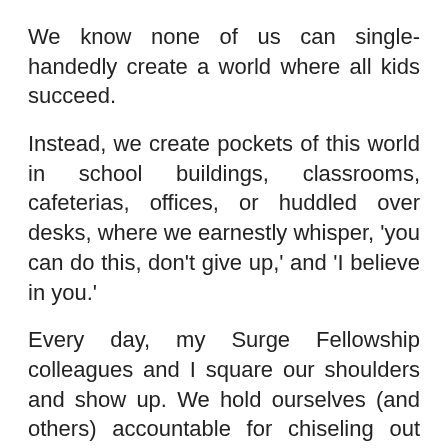We know none of us can single-handedly create a world where all kids succeed.
Instead, we create pockets of this world in school buildings, classrooms, cafeterias, offices, or huddled over desks, where we earnestly whisper, 'you can do this, don't give up,' and 'I believe in you.'
Every day, my Surge Fellowship colleagues and I square our shoulders and show up. We hold ourselves (and others) accountable for chiseling out spaces where excellent education happens—spaces where students understand that they matter and that they are appreciated on both the good and the bad days. We carve out spaces in a rocky terrain so that teachers, administrators, and decision-